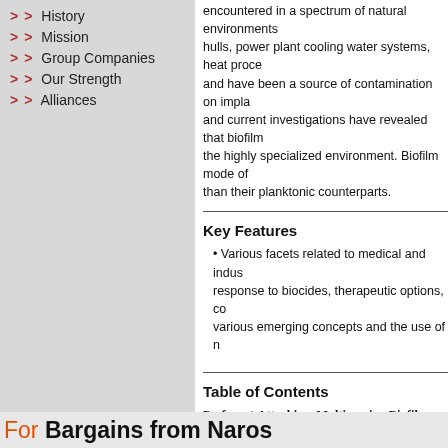History
Mission
Group Companies
Our Strength
Alliances
encountered in a spectrum of natural environments hulls, power plant cooling water systems, heat proce and have been a source of contamination on impla and current investigations have revealed that biofilm the highly specialized environment. Biofilm mode o than their planktonic counterparts.
Key Features
• Various facets related to medical and indus response to biocides, therapeutic options, co various emerging concepts and the use of n
Table of Contents
Preface / Attacking Multispecies Biofilms n Industrial War between Good and Bad Bacteria in Human He Current Strategies to Reduction of Marine Biofilm F Coatings / Nanoparticulates and Nanocomposites as
Audience
Undergraduate Students, Professionals, Teachers an
[Figure (other): Orange 'Add to my shopping cart' button with hand cursor icon]
For Bargains from Naros